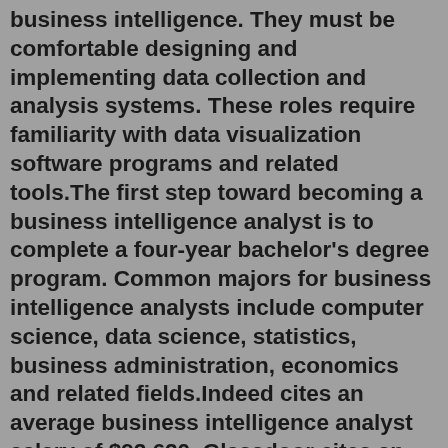business intelligence. They must be comfortable designing and implementing data collection and analysis systems. These roles require familiarity with data visualization software programs and related tools.The first step toward becoming a business intelligence analyst is to complete a four-year bachelor's degree program. Common majors for business intelligence analysts include computer science, data science, statistics, business administration, economics and related fields.Indeed cites an average business intelligence analyst salary of $92,620. Glassdoor cites an average annual salary of $84,442 – over $100,000 for a senior BI analyst and $114,000 for a lead BI analyst. O*NET, an occupational information resource, cites an average BI analyst salary of $98,230. Aug 30, 2021 · The role of an Amazon Business Intelligence Engineer involves: Giving routine data-driven updates to leaders and teams about the state of the business. Developing automated solutions that help employees look up the data and insights they need in a